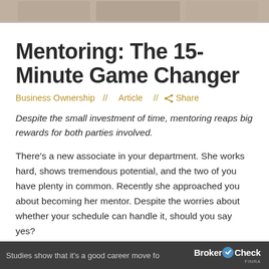[Figure (photo): Top photo strip showing people, partially cropped at the top of the page]
Mentoring: The 15-Minute Game Changer
Business Ownership  //  Article  //  Share
Despite the small investment of time, mentoring reaps big rewards for both parties involved.
There's a new associate in your department. She works hard, shows tremendous potential, and the two of you have plenty in common. Recently she approached you about becoming her mentor. Despite the worries about whether your schedule can handle it, should you say yes?
Studies show that it's a good career move fo...  BrokerCheck FINRA